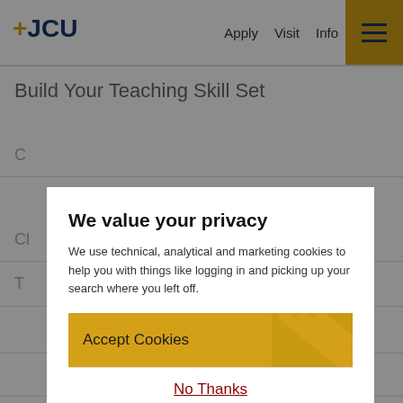[Figure (screenshot): JCU university website header with logo, navigation links (Apply, Visit, Info), and hamburger menu button on gold background]
Build Your Teaching Skill Set
[Figure (screenshot): Cookie consent modal overlay on JCU website with title 'We value your privacy', descriptive text, Accept Cookies button, No Thanks link, and View Cookie Settings link]